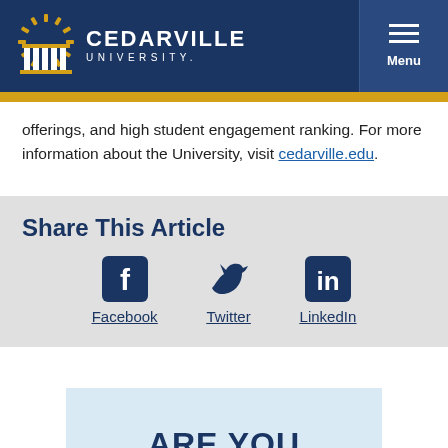[Figure (logo): Cedarville University logo with columned building icon, white text on dark navy background, with Menu button on right]
offerings, and high student engagement ranking. For more information about the University, visit cedarville.edu.
Share This Article
[Figure (infographic): Social sharing icons for Facebook, Twitter, and LinkedIn in navy blue]
ARE YOU